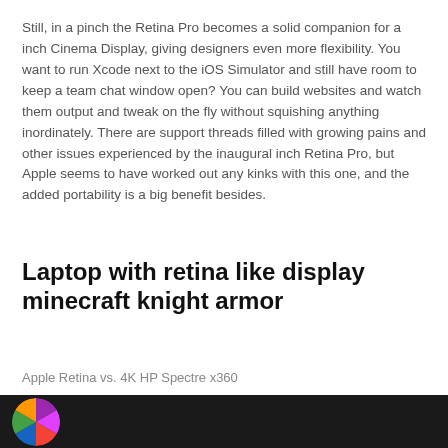Still, in a pinch the Retina Pro becomes a solid companion for a inch Cinema Display, giving designers even more flexibility. You want to run Xcode next to the iOS Simulator and still have room to keep a team chat window open? You can build websites and watch them output and tweak on the fly without squishing anything inordinately. There are support threads filled with growing pains and other issues experienced by the inaugural inch Retina Pro, but Apple seems to have worked out any kinks with this one, and the added portability is a big benefit besides.
Laptop with retina like display minecraft knight armor
Apple Retina vs. 4K HP Spectre x360
[Figure (photo): Dark background image with a circular avatar/icon showing colorful graphic on the left side]